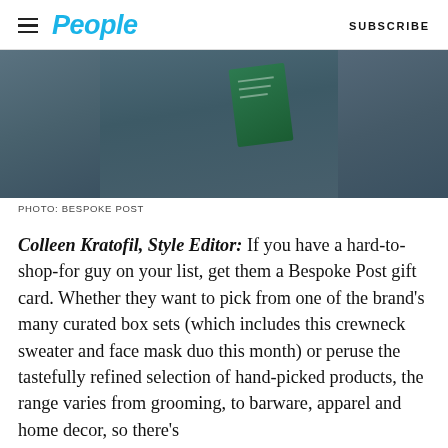People | SUBSCRIBE
[Figure (photo): A dark navy/slate blue crewneck sweater laid flat, with a green face mask card/product placed on top of it, photographed against a light grey background from above.]
PHOTO: BESPOKE POST
Colleen Kratofil, Style Editor: If you have a hard-to-shop-for guy on your list, get them a Bespoke Post gift card. Whether they want to pick from one of the brand's many curated box sets (which includes this crewneck sweater and face mask duo this month) or peruse the tastefully refined selection of hand-picked products, the range varies from grooming, to barware, apparel and home decor, so there's